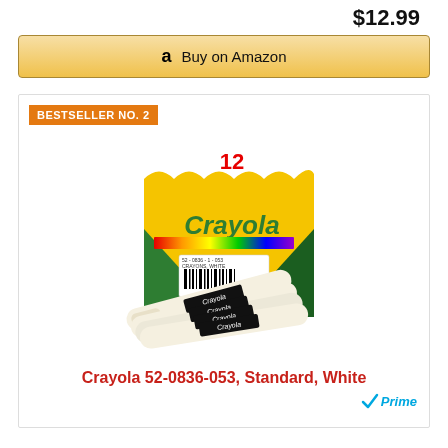$12.99
Buy on Amazon
BESTSELLER NO. 2
[Figure (photo): Product photo of a box of 12 Crayola white crayons (model 52-0836-053) with several white crayons fanned out in front of the box]
Crayola 52-0836-053, Standard, White
Prime